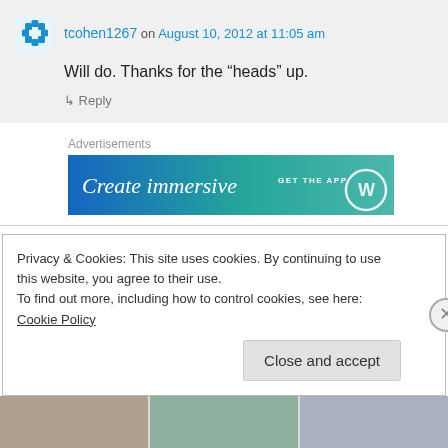tcohen1267 on August 10, 2012 at 11:05 am
Will do. Thanks for the “heads” up.
↳ Reply
Advertisements
[Figure (screenshot): WordPress 'Create immersive' advertisement banner with GET THE APP text and WordPress logo]
OneWeekToCrazy on August 10, 2012 at 9:43 am
Privacy & Cookies: This site uses cookies. By continuing to use this website, you agree to their use.
To find out more, including how to control cookies, see here: Cookie Policy
Close and accept